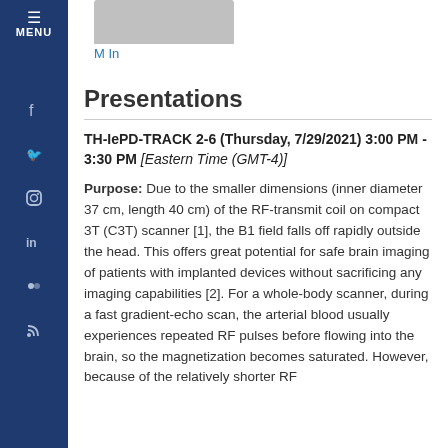[Figure (photo): Partial profile photo (cropped, gray placeholder) with 'M In' link below]
Presentations
TH-IePD-TRACK 2-6 (Thursday, 7/29/2021) 3:00 PM - 3:30 PM [Eastern Time (GMT-4)]
Purpose: Due to the smaller dimensions (inner diameter 37 cm, length 40 cm) of the RF-transmit coil on compact 3T (C3T) scanner [1], the B1 field falls off rapidly outside the head. This offers great potential for safe brain imaging of patients with implanted devices without sacrificing any imaging capabilities [2]. For a whole-body scanner, during a fast gradient-echo scan, the arterial blood usually experiences repeated RF pulses before flowing into the brain, so the magnetization becomes saturated. However, because of the relatively shorter RF